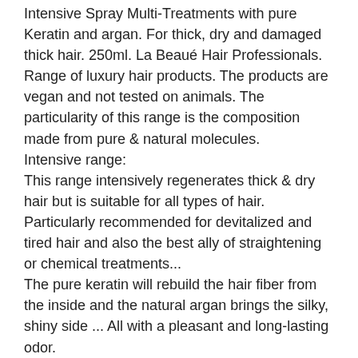Intensive Spray Multi-Treatments with pure Keratin and argan. For thick, dry and damaged thick hair. 250ml. La Beauté Hair Professionals.
Range of luxury hair products. The products are vegan and not tested on animals. The particularity of this range is the composition made from pure & natural molecules.
Intensive range:
This range intensively regenerates thick & dry hair but is suitable for all types of hair. Particularly recommended for devitalized and tired hair and also the best ally of straightening or chemical treatments...
The pure keratin will rebuild the hair fiber from the inside and the natural argan brings the silky, shiny side ... All with a pleasant and long-lasting odor.
Intensive Spray Multi. Treatments with pure Keratin and Argan, for large dry and damaged hair. 250ml. Beauty Hair Professionals.
The Multi-treatments Thermo-protective spray with